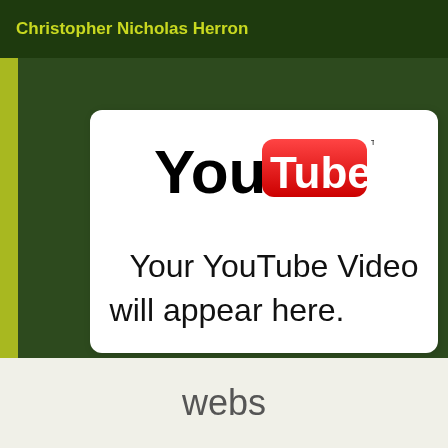Christopher Nicholas Herron
[Figure (logo): YouTube logo with red rounded rectangle badge containing white 'Tube' text, black 'You' text, and TM superscript]
Your YouTube Video will appear here.
webs